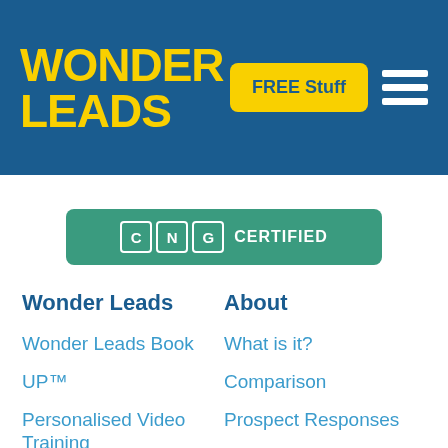[Figure (logo): Wonder Leads logo in yellow bold text on blue background header, with FREE Stuff yellow button and hamburger menu icon]
[Figure (other): CNG Certified badge — green rounded rectangle with C N G in bordered boxes and CERTIFIED text in white]
Wonder Leads
Wonder Leads Book
UP™
Personalised Video Training
Personalised Video Marketing Course
Free Stuff
Ultimate Guide to
About
What is it?
Comparison
Prospect Responses
One to 1%
About Dave Holloway
Blog